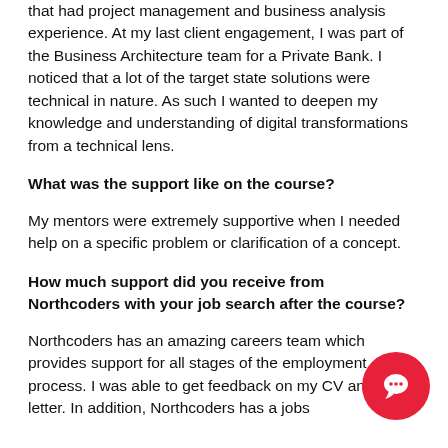that had project management and business analysis experience. At my last client engagement, I was part of the Business Architecture team for a Private Bank. I noticed that a lot of the target state solutions were technical in nature. As such I wanted to deepen my knowledge and understanding of digital transformations from a technical lens.
What was the support like on the course?
My mentors were extremely supportive when I needed help on a specific problem or clarification of a concept.
How much support did you receive from Northcoders with your job search after the course?
Northcoders has an amazing careers team which provides support for all stages of the employment process. I was able to get feedback on my CV and cover letter. In addition, Northcoders has a job...